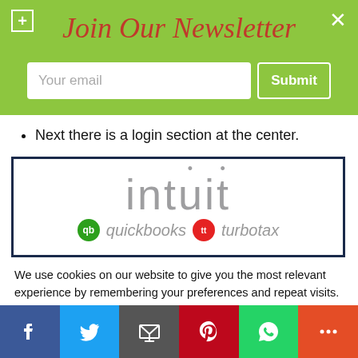Join Our Newsletter
[Figure (screenshot): Email input field with placeholder 'Your email' and a Submit button]
Next there is a login section at the center.
[Figure (logo): Intuit logo with quickbooks and turbotax product logos below]
We use cookies on our website to give you the most relevant experience by remembering your preferences and repeat visits. By clicking “Accept”, you consent to the use of ALL the cookies.
Do not sell my personal information.
[Figure (screenshot): Social share bar with Facebook, Twitter, Email, Pinterest, WhatsApp, and More buttons]